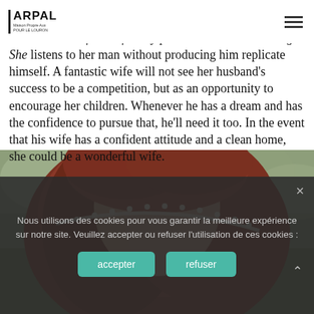ARPAL — Maison Propre Aux Pour Le Louron
ac… is not really a great wife. An excellent wife is definitely patient and understanding. She listens to her man without producing him replicate himself. A fantastic wife will not see her husband's success to be a competition, but as an opportunity to encourage her children. Whenever he has a dream and has the confidence to pursue that, he'll need it too. In the event that his wife has a confident attitude and a clean home, she could be a wonderful wife.
[Figure (photo): Close-up photo of a woman with red hair wearing a pearl headband, outdoors with blurred greenery background.]
Nous utilisons des cookies pour vous garantir la meilleure expérience sur notre site. Veuillez accepter ou refuser l'utilisation de ces cookies :